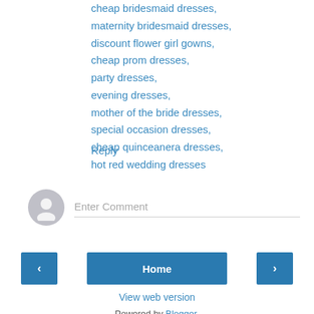cheap bridesmaid dresses,
maternity bridesmaid dresses,
discount flower girl gowns,
cheap prom dresses,
party dresses,
evening dresses,
mother of the bride dresses,
special occasion dresses,
cheap quinceanera dresses,
hot red wedding dresses
Reply
[Figure (other): User avatar icon (grey silhouette) with Enter Comment placeholder text input field]
[Figure (other): Navigation buttons: left arrow, Home button, right arrow]
View web version
Powered by Blogger.